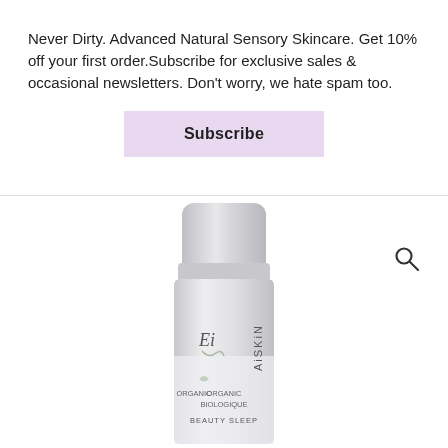Never Dirty. Advanced Natural Sensory Skincare. Get 10% off your first order.Subscribe for exclusive sales & occasional newsletters. Don't worry, we hate spam too.
Subscribe
[Figure (photo): A skincare product bottle labeled 'Ei SKIN ORGANIC BIOLOGIQUE BEAUTY SLEEP' with a silver/grey cylindrical design and pump top]